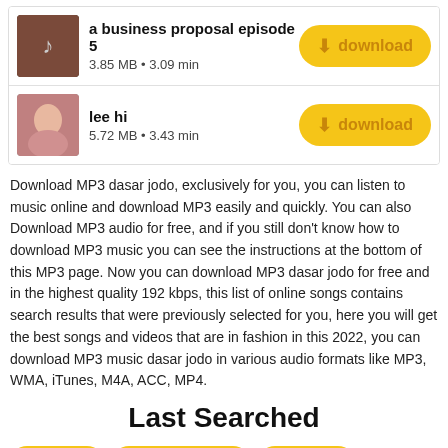a business proposal episode 5 — 3.85 MB • 3.09 min
lee hi — 5.72 MB • 3.43 min
Download MP3 dasar jodo, exclusively for you, you can listen to music online and download MP3 easily and quickly. You can also Download MP3 audio for free, and if you still don't know how to download MP3 music you can see the instructions at the bottom of this MP3 page. Now you can download MP3 dasar jodo for free and in the highest quality 192 kbps, this list of online songs contains search results that were previously selected for you, here you will get the best songs and videos that are in fashion in this 2022, you can download MP3 music dasar jodo in various audio formats like MP3, WMA, iTunes, M4A, ACC, MP4.
Last Searched
Billie joe
Ovj sule nyanyi
Bandung
Shuumatsu no valkyrie episode 13
Koes plus
Web drama
Lagu batik jambi